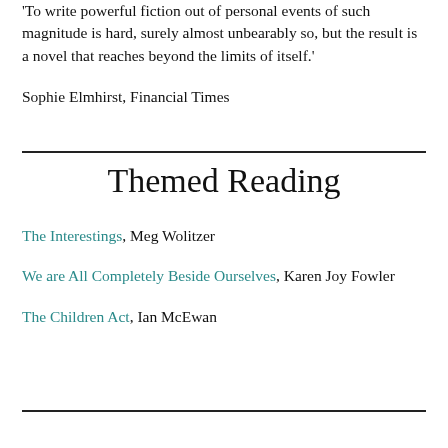'To write powerful fiction out of personal events of such magnitude is hard, surely almost unbearably so, but the result is a novel that reaches beyond the limits of itself.'
Sophie Elmhirst, Financial Times
Themed Reading
The Interestings, Meg Wolitzer
We are All Completely Beside Ourselves, Karen Joy Fowler
The Children Act, Ian McEwan